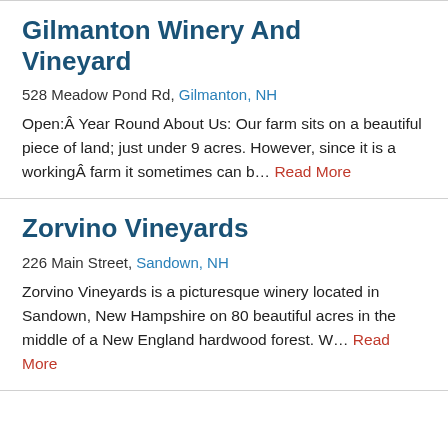Gilmanton Winery And Vineyard
528 Meadow Pond Rd, Gilmanton, NH
Open:Â Year Round About Us: Our farm sits on a beautiful piece of land; just under 9 acres. However, since it is a workingÂ farm it sometimes can b… Read More
Zorvino Vineyards
226 Main Street, Sandown, NH
Zorvino Vineyards is a picturesque winery located in Sandown, New Hampshire on 80 beautiful acres in the middle of a New England hardwood forest. W… Read More